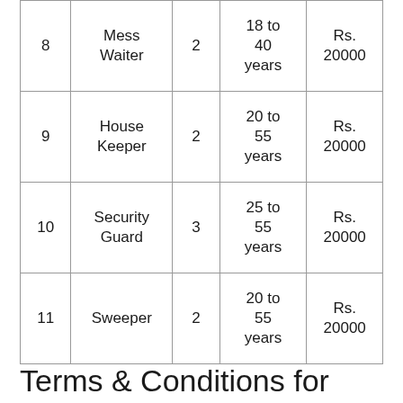|  |  |  |  |  |
| --- | --- | --- | --- | --- |
| 8 | Mess Waiter | 2 | 18 to 40 years | Rs. 20000 |
| 9 | House Keeper | 2 | 20 to 55 years | Rs. 20000 |
| 10 | Security Guard | 3 | 25 to 55 years | Rs. 20000 |
| 11 | Sweeper | 2 | 20 to 55 years | Rs. 20000 |
Terms & Conditions for